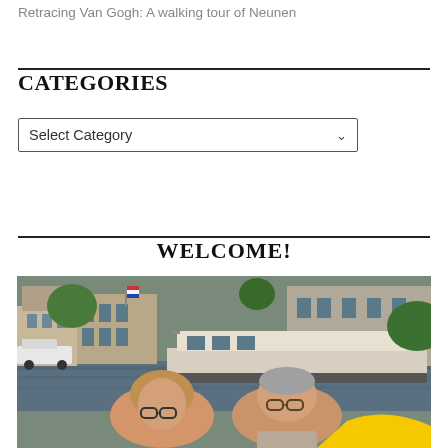Retracing Van Gogh: A walking tour of Neunen
CATEGORIES
Select Category
WELCOME!
[Figure (photo): Two people (a woman and a man, both older adults wearing glasses) smiling on what appears to be a boat on an Amsterdam canal, with historic canal houses and a large houseboat visible in the background. A yellow accent is visible at the bottom right of the image.]